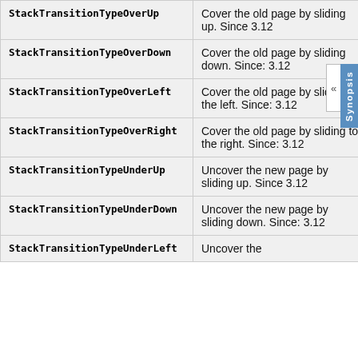| Constant | Description |
| --- | --- |
| StackTransitionTypeOverUp | Cover the old page by sliding up. Since 3.12 |
| StackTransitionTypeOverDown | Cover the old page by sliding down. Since: 3.12 |
| StackTransitionTypeOverLeft | Cover the old page by sliding to the left. Since: 3.12 |
| StackTransitionTypeOverRight | Cover the old page by sliding to the right. Since: 3.12 |
| StackTransitionTypeUnderUp | Uncover the new page by sliding up. Since 3.12 |
| StackTransitionTypeUnderDown | Uncover the new page by sliding down. Since: 3.12 |
| StackTransitionTypeUnderLeft | Uncover the |